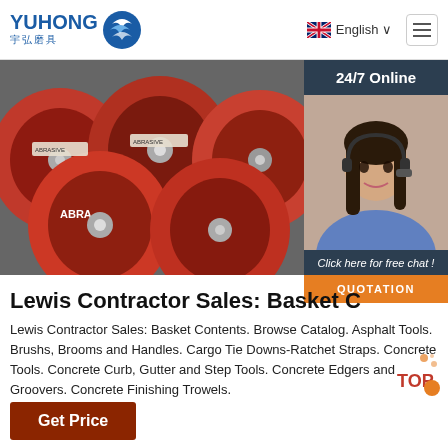[Figure (logo): Yuhong logo with blue wave icon and Chinese characters 宇弘磨具]
English ∨
[Figure (photo): Red abrasive cutting discs stacked together, with ABRA branding visible]
[Figure (photo): 24/7 Online chat widget with customer service representative wearing headset. Click here for free chat! QUOTATION button.]
Lewis Contractor Sales: Basket C
Lewis Contractor Sales: Basket Contents. Browse Catalog. Asphalt Tools. Brushs, Brooms and Handles. Cargo Tie Downs-Ratchet Straps. Concrete Tools. Concrete Curb, Gutter and Step Tools. Concrete Edgers and Groovers. Concrete Finishing Trowels.
[Figure (other): TOP badge with orange and red decorative dots]
Get Price